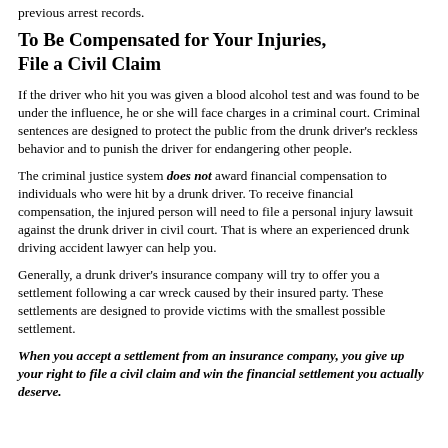previous arrest records.
To Be Compensated for Your Injuries, File a Civil Claim
If the driver who hit you was given a blood alcohol test and was found to be under the influence, he or she will face charges in a criminal court. Criminal sentences are designed to protect the public from the drunk driver's reckless behavior and to punish the driver for endangering other people.
The criminal justice system does not award financial compensation to individuals who were hit by a drunk driver. To receive financial compensation, the injured person will need to file a personal injury lawsuit against the drunk driver in civil court. That is where an experienced drunk driving accident lawyer can help you.
Generally, a drunk driver's insurance company will try to offer you a settlement following a car wreck caused by their insured party. These settlements are designed to provide victims with the smallest possible settlement.
When you accept a settlement from an insurance company, you give up your right to file a civil claim and win the financial settlement you actually deserve.